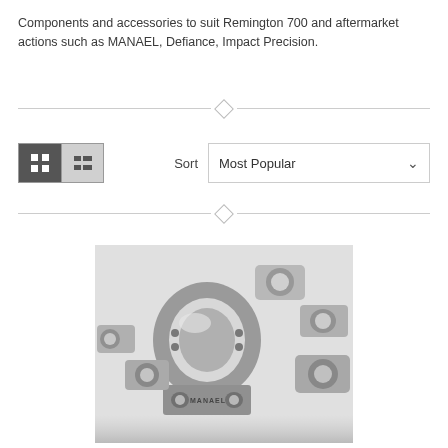Components and accessories to suit Remington 700 and aftermarket actions such as MANAEL, Defiance, Impact Precision.
[Figure (photo): Multiple machined metal scope ring components/bases displayed on a white surface, showing MANAEL branding, made of stainless steel with precision-machined cutouts]